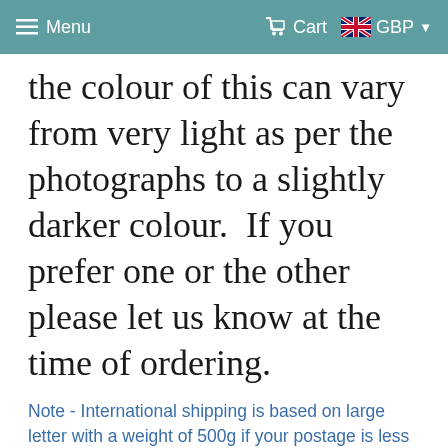Menu  Cart  GBP
the colour of this can vary from very light as per the photographs to a slightly darker colour.  If you prefer one or the other please let us know at the time of ordering.
Note - International shipping is based on large letter with a weight of 500g if your postage is less than the